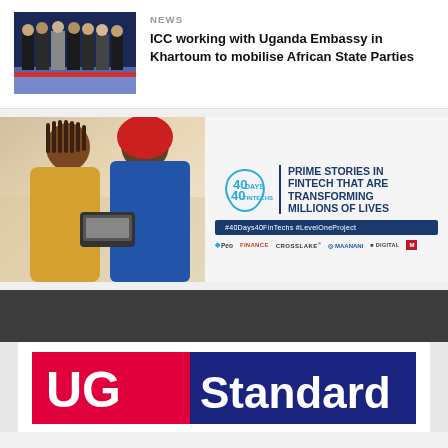[Figure (photo): Group of people in formal attire standing together, possibly diplomats or officials]
NEWS
ICC working with Uganda Embassy in Khartoum to mobilise African State Parties
[Figure (infographic): 40 Days 40 Fintechs promotional banner with two women looking at a mobile payment device. Text: PRIME STORIES IN FINTECH THAT ARE TRANSFORMING MILLIONS OF LIVES. Hashtag: #40Days40FinTechs #LevelOneProject. Logos of various fintech companies at the bottom.]
[Figure (logo): UG Standard logo — red left portion with 'UG' in white bold text, dark navy right portion with 'Standard' in white bold text]